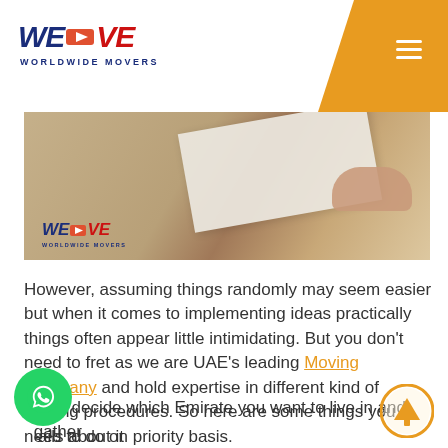WE MOVE WORLDWIDE MOVERS
[Figure (photo): Hero image showing a wooden desk surface with paper and a hand, overlaid with WeMOVE Worldwide Movers logo]
However, assuming things randomly may seem easier but when it comes to implementing ideas practically things often appear little intimidating. But you don't need to fret as we are UAE's leading Moving Company and hold expertise in different kind of moving procedures. So here are some things you need to do on priority basis.
First decide which Emirate you want to live in and gather details about it
If you're a businessman or an office worker, your next move is to plan for your livelihood and being an American citizen